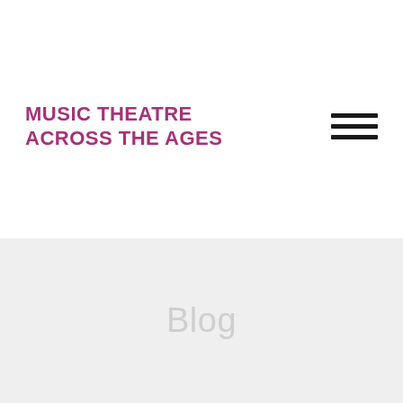MUSIC THEATRE ACROSS THE AGES
[Figure (other): Hamburger menu icon with three horizontal black bars]
Blog